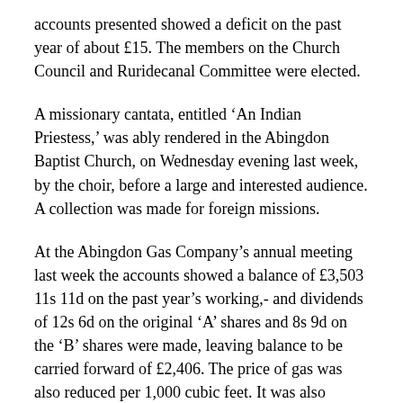accounts presented showed a deficit on the past year of about £15. The members on the Church Council and Ruridecanal Committee were elected.
A missionary cantata, entitled ‘An Indian Priestess,’ was ably rendered in the Abingdon Baptist Church, on Wednesday evening last week, by the choir, before a large and interested audience. A collection was made for foreign missions.
At the Abingdon Gas Company’s annual meeting last week the accounts showed a balance of £3,503 11s 11d on the past year’s working,- and dividends of 12s 6d on the original ‘A’ shares and 8s 9d on the ‘B’ shares were made, leaving balance to be carried forward of £2,406. The price of gas was also reduced per 1,000 cubic feet. It was also mentioned that preliminaries were being undertaken with a view to amalgamation with the Oxford Gas Company.
At the Borough Bench an application for using the Stert